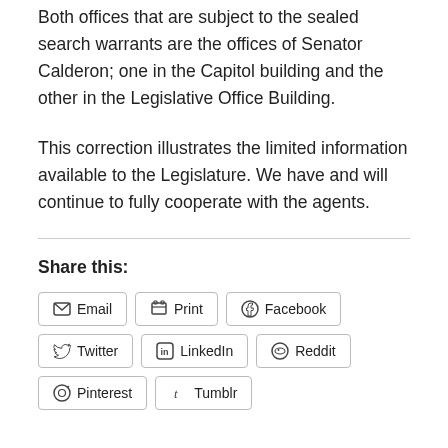Both offices that are subject to the sealed search warrants are the offices of Senator Calderon; one in the Capitol building and the other in the Legislative Office Building.
This correction illustrates the limited information available to the Legislature. We have and will continue to fully cooperate with the agents.
Share this:
[Figure (other): Social share buttons: Email, Print, Facebook, Twitter, LinkedIn, Reddit, Pinterest, Tumblr]